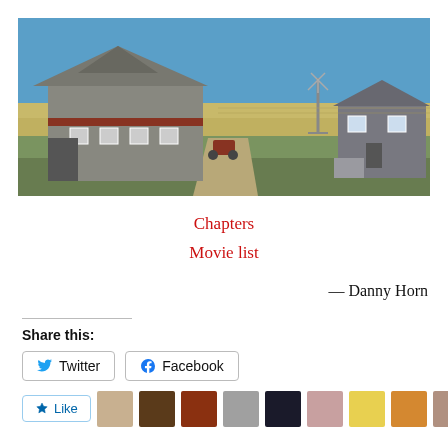[Figure (photo): Farmstead scene with a large grey barn on the left, a windmill tower and farmhouse on the right, flat wheat fields in the background under a clear blue sky, with a dirt road leading up to the buildings and green grass in the foreground.]
Chapters
Movie list
— Danny Horn
Share this:
Twitter
Facebook
Like